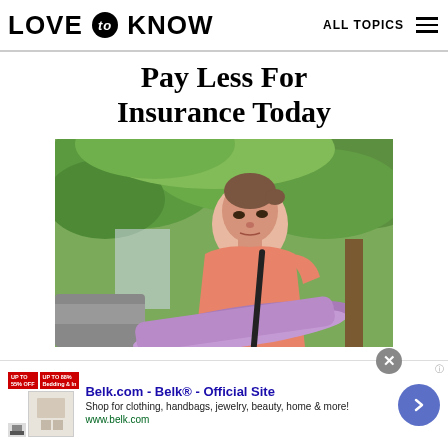LOVE to KNOW   ALL TOPICS
Pay Less For Insurance Today
[Figure (photo): Young woman in pink top carrying a purple yoga mat, standing outdoors near a car with trees in background]
Belk.com - Belk® - Official Site
Shop for clothing, handbags, jewelry, beauty, home & more!
www.belk.com